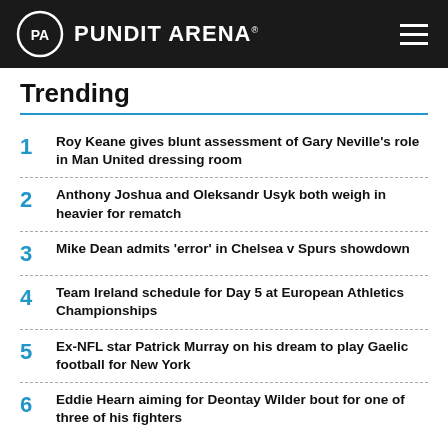PUNDIT ARENA
Trending
1 Roy Keane gives blunt assessment of Gary Neville's role in Man United dressing room
2 Anthony Joshua and Oleksandr Usyk both weigh in heavier for rematch
3 Mike Dean admits 'error' in Chelsea v Spurs showdown
4 Team Ireland schedule for Day 5 at European Athletics Championships
5 Ex-NFL star Patrick Murray on his dream to play Gaelic football for New York
6 Eddie Hearn aiming for Deontay Wilder bout for one of three of his fighters